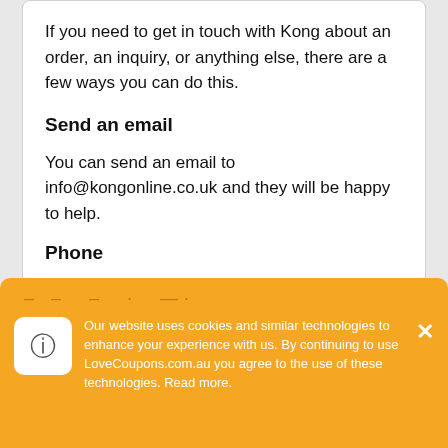If you need to get in touch with Kong about an order, an inquiry, or anything else, there are a few ways you can do this.
Send an email
You can send an email to info@kongonline.co.uk and they will be happy to help.
Phone
Give Kong a call at +44 247 652 0972 and they will be more than happy to help.
Our website uses cookies and similar technologies to enhance your experience with us. By continuing to use LoveCoupons.com.au you agree to the use of these technologies. Read more.